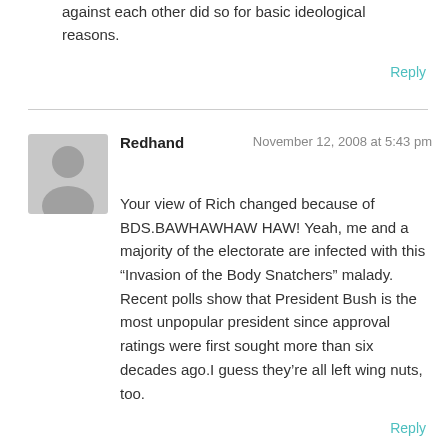against each other did so for basic ideological reasons.
Reply
Redhand  November 12, 2008 at 5:43 pm
Your view of Rich changed because of BDS.BAWHAWHAW HAW! Yeah, me and a majority of the electorate are infected with this “Invasion of the Body Snatchers” malady. Recent polls show that President Bush is the most unpopular president since approval ratings were first sought more than six decades ago.I guess they’re all left wing nuts, too.
Reply